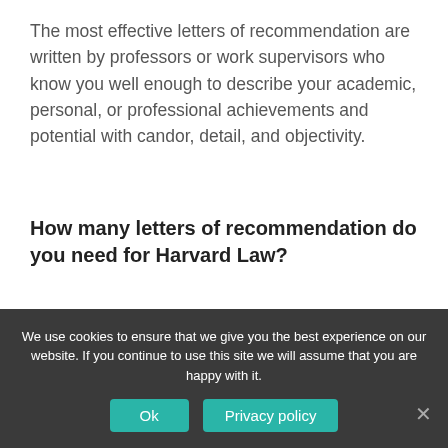The most effective letters of recommendation are written by professors or work supervisors who know you well enough to describe your academic, personal, or professional achievements and potential with candor, detail, and objectivity.
How many letters of recommendation do you need for Harvard Law?
Two letters
What SAT score did Elle Woods get?
We use cookies to ensure that we give you the best experience on our website. If you continue to use this site we will assume that you are happy with it.